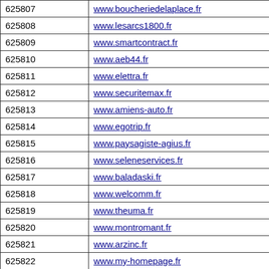| ID | URL |
| --- | --- |
| 625807 | www.boucheriedelaplace.fr |
| 625808 | www.lesarcs1800.fr |
| 625809 | www.smartcontract.fr |
| 625810 | www.aeb44.fr |
| 625811 | www.elettra.fr |
| 625812 | www.securitemax.fr |
| 625813 | www.amiens-auto.fr |
| 625814 | www.egotrip.fr |
| 625815 | www.paysagiste-agius.fr |
| 625816 | www.seleneservices.fr |
| 625817 | www.baladaski.fr |
| 625818 | www.welcomm.fr |
| 625819 | www.theuma.fr |
| 625820 | www.montromant.fr |
| 625821 | www.arzinc.fr |
| 625822 | www.my-homepage.fr |